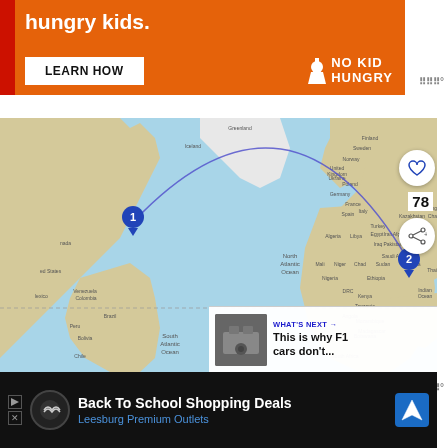[Figure (screenshot): Orange advertisement banner for No Kid Hungry with LEARN HOW button and logo. Text says 'hungry kids.']
[Figure (map): World map showing a flight arc/route from location 1 (North America, east coast) to location 2 (Southeast Asia region), connected by a curved purple arc line. Map shows North Atlantic Ocean, countries, continent labels.]
78
WHAT'S NEXT → This is why F1 cars don't...
[Figure (screenshot): Black advertisement banner for Back To School Shopping Deals at Leesburg Premium Outlets with navigation arrow icon.]